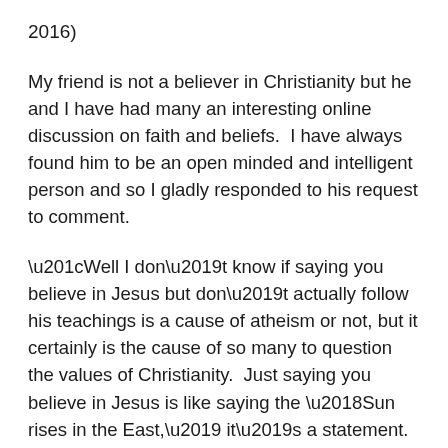2016)
My friend is not a believer in Christianity but he and I have had many an interesting online discussion on faith and beliefs.  I have always found him to be an open minded and intelligent person and so I gladly responded to his request to comment.
“Well I don’t know if saying you believe in Jesus but don’t actually follow his teachings is a cause of atheism or not, but it certainly is the cause of so many to question the values of Christianity.  Just saying you believe in Jesus is like saying the ‘Sun rises in the East,’ it’s a statement. Being faithful to the teachings of Jesus however means you are loyal to those teachings and practice them, or at least do you your best to try, every day.  If you only use the words to carry a message of hate, domination and greed then you have become separated from God and are not